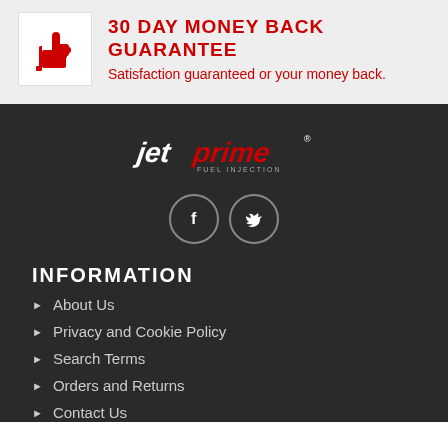[Figure (illustration): Red thumbs-up icon inside a white bordered box on a light grey background]
30 DAY MONEY BACK GUARANTEE
Satisfaction guaranteed or your money back.
[Figure (logo): Jetprime fuel injection logo in red and white stylized text on dark background]
[Figure (illustration): Two circular social media icons: Facebook (f) and Twitter (bird) on dark background with grey borders]
INFORMATION
About Us
Privacy and Cookie Policy
Search Terms
Orders and Returns
Contact Us